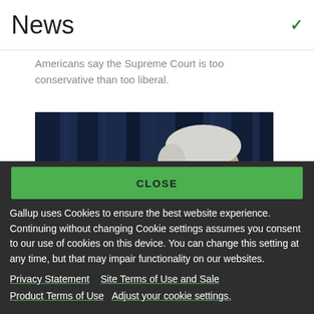News
Americans say the Supreme Court is too conservative than too liberal.
[Figure (photo): Profile photo of an elderly white-haired man (Joe Biden) against a dark blue curtain background]
CLOSE
Gallup uses Cookies to ensure the best website experience. Continuing without changing Cookie settings assumes you consent to our use of cookies on this device. You can change this setting at any time, but that may impair functionality on our websites.
Privacy Statement   Site Terms of Use and Sale   Product Terms of Use   Adjust your cookie settings.